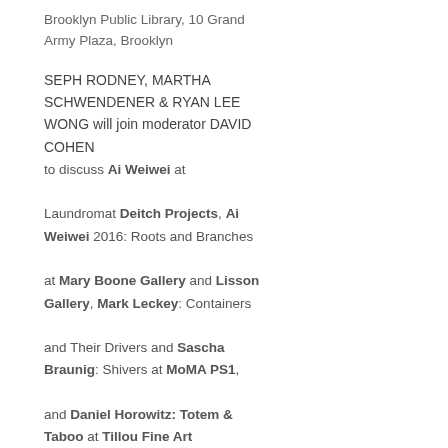Brooklyn Public Library, 10 Grand Army Plaza, Brooklyn
SEPH RODNEY, MARTHA SCHWENDENER & RYAN LEE WONG will join moderator DAVID COHEN to discuss Ai Weiwei at Laundromat Deitch Projects, Ai Weiwei 2016: Roots and Branches at Mary Boone Gallery and Lisson Gallery, Mark Leckey: Containers and Their Drivers and Sascha Braunig: Shivers at MoMA PS1, and Daniel Horowitz: Totem & Taboo at Tillou Fine Art